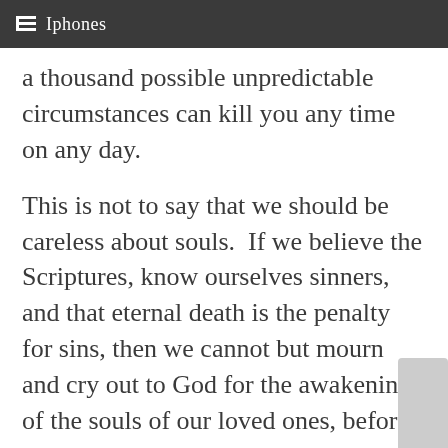Iphones
a thousand possible unpredictable circumstances can kill you any time on any day.
This is not to say that we should be careless about souls.  If we believe the Scriptures, know ourselves sinners, and that eternal death is the penalty for sins, then we cannot but mourn and cry out to God for the awakening of the souls of our loved ones, before they perish without hope.  But we must not give people any false hope by the